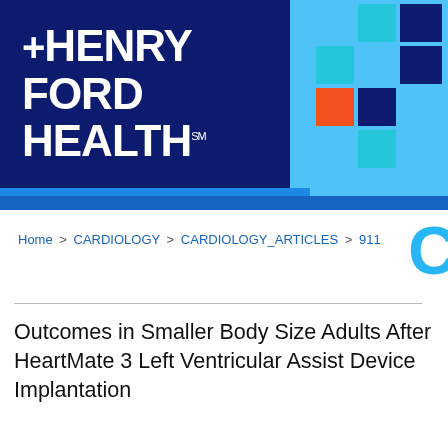[Figure (logo): Henry Ford Health logo on dark navy background with colorful pixel/mosaic grid pattern on the right side]
Home > CARDIOLOGY > CARDIOLOGY_ARTICLES > 911
Outcomes in Smaller Body Size Adults After HeartMate 3 Left Ventricular Assist Device Implantation